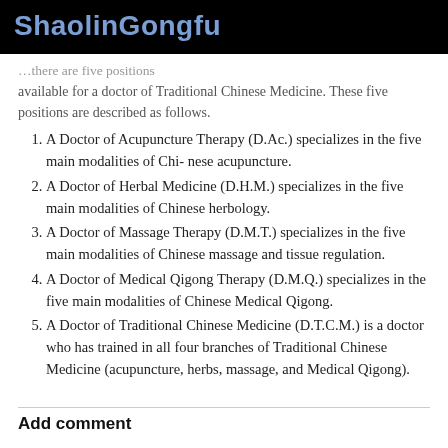ShaolinGongfu
...available for a doctor of Traditional Chinese Medicine. These five positions are described as follows.
A Doctor of Acupuncture Therapy (D.Ac.) specializes in the five main modalities of Chi- nese acupuncture.
A Doctor of Herbal Medicine (D.H.M.) specializes in the five main modalities of Chinese herbology.
A Doctor of Massage Therapy (D.M.T.) specializes in the five main modalities of Chinese massage and tissue regulation.
A Doctor of Medical Qigong Therapy (D.M.Q.) specializes in the five main modalities of Chinese Medical Qigong.
A Doctor of Traditional Chinese Medicine (D.T.C.M.) is a doctor who has trained in all four branches of Traditional Chinese Medicine (acupuncture, herbs, massage, and Medical Qigong).
Add comment